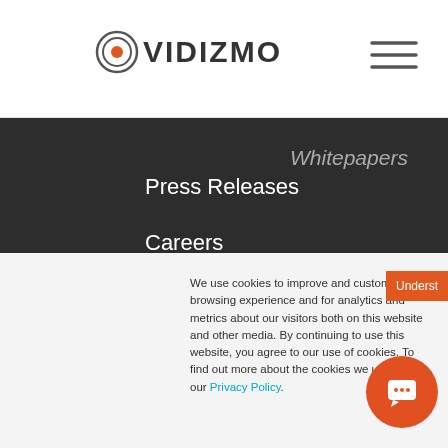[Figure (logo): VIDIZMO logo with orange circular play button icon and text VIDIZMO]
[Figure (illustration): Hamburger menu icon (three horizontal lines) in top right]
Whitepapers
Press Releases
Careers
Helpdesk
Service Status
All Resources
[Figure (illustration): Orange circular scroll-to-top button with upward chevron arrow]
We use cookies to improve and customize your browsing experience and for analytics and metrics about our visitors both on this website and other media. By continuing to use this website, you agree to our use of cookies. To find out more about the cookies we use, see our Privacy Policy.